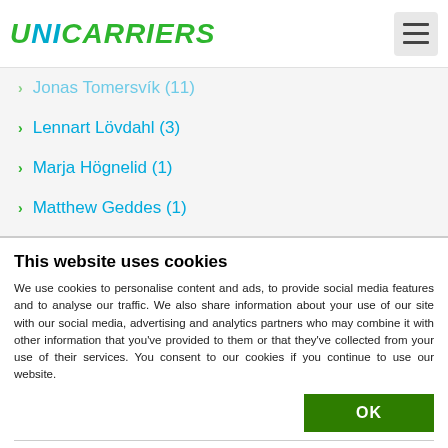UniCarriers
Jonas Tomersvík (11)
Lennart Lövdahl (3)
Marja Högnelid (1)
Matthew Geddes (1)
Mikael Pålsson (2)
Paul Boynton (8)
This website uses cookies
We use cookies to personalise content and ads, to provide social media features and to analyse our traffic. We also share information about your use of our site with our social media, advertising and analytics partners who may combine it with other information that you've provided to them or that they've collected from your use of their services. You consent to our cookies if you continue to use our website.
OK
Necessary  Preferences  Statistics  Marketing  Show details